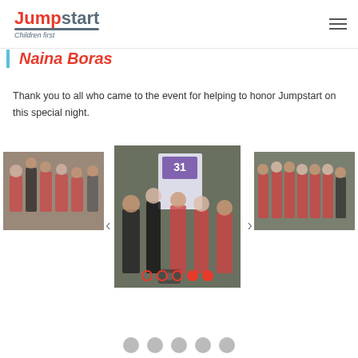Jumpstart — Children first
Naina Boras
Thank you to all who came to the event for helping to honor Jumpstart on this special night.
[Figure (photo): Three event photos in a carousel: left shows people in red shirts in a hallway, center shows a woman receiving something at an event booth with a '31' sign, right shows a group of young people in red shirts lined up.]
[Figure (other): Social media icon row at the bottom of the page]